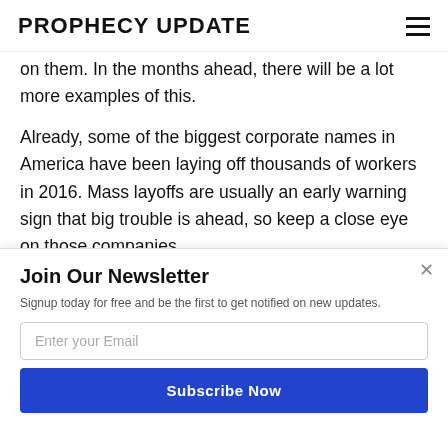PROPHECY UPDATE
on them.  In the months ahead, there will be a lot more examples of this.
Already, some of the biggest corporate names in America have been laying off thousands of workers in 2016.  Mass layoffs are usually an early warning sign that big trouble is ahead, so keep a close eye on those companies.
[Figure (logo): POWERED BY SUMO badge/button]
Join Our Newsletter
Signup today for free and be the first to get notified on new updates.
Enter your Email
Subscribe Now